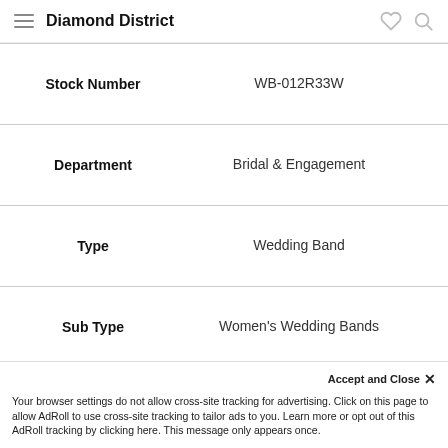Diamond District
| Field | Value |
| --- | --- |
| Stock Number | WB-012R33W |
| Department | Bridal & Engagement |
| Type | Wedding Band |
| Sub Type | Women's Wedding Bands |
| Collection | Rope Collection |
| Materials | 18K Gold, 14K Gold , Palladium, Platinum |
| Width | 3.50 mm |
Accept and Close ✕ Your browser settings do not allow cross-site tracking for advertising. Click on this page to allow AdRoll to use cross-site tracking to tailor ads to you. Learn more or opt out of this AdRoll tracking by clicking here. This message only appears once.